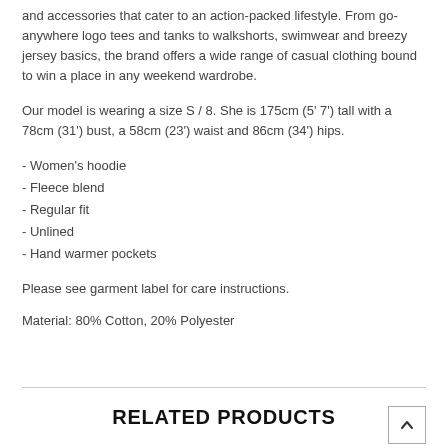and accessories that cater to an action-packed lifestyle. From go-anywhere logo tees and tanks to walkshorts, swimwear and breezy jersey basics, the brand offers a wide range of casual clothing bound to win a place in any weekend wardrobe.
Our model is wearing a size S / 8. She is 175cm (5' 7') tall with a 78cm (31') bust, a 58cm (23') waist and 86cm (34') hips.
- Women's hoodie
- Fleece blend
- Regular fit
- Unlined
- Hand warmer pockets
Please see garment label for care instructions.
Material: 80% Cotton, 20% Polyester
RELATED PRODUCTS